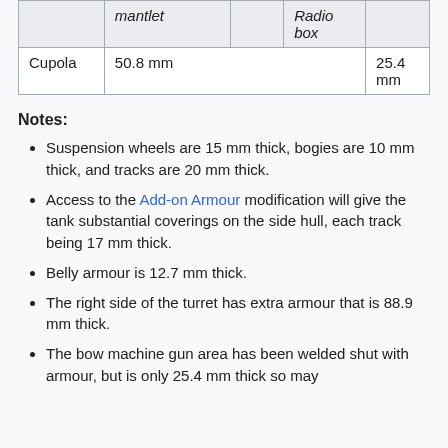|  | mantlet |  | Radio box |  |
| --- | --- | --- | --- | --- |
| Cupola | 50.8 mm |  |  | 25.4 mm |
Notes:
Suspension wheels are 15 mm thick, bogies are 10 mm thick, and tracks are 20 mm thick.
Access to the Add-on Armour modification will give the tank substantial coverings on the side hull, each track being 17 mm thick.
Belly armour is 12.7 mm thick.
The right side of the turret has extra armour that is 88.9 mm thick.
The bow machine gun area has been welded shut with armour, but is only 25.4 mm thick so may